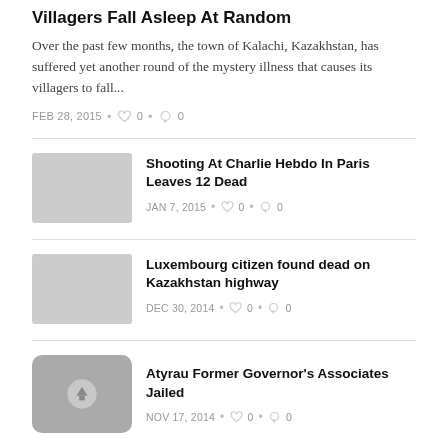Villagers Fall Asleep At Random
Over the past few months, the town of Kalachi, Kazakhstan, has suffered yet another round of the mystery illness that causes its villagers to fall...
FEB 28, 2015  •  ♡ 0  •  ⊙ 0
Shooting At Charlie Hebdo In Paris Leaves 12 Dead
JAN 7, 2015  •  ♡ 0  •  ⊙ 0
Luxembourg citizen found dead on Kazakhstan highway
DEC 30, 2014  •  ♡ 0  •  ⊙ 0
Atyrau Former Governor's Associates Jailed
NOV 17, 2014  •  ♡ 0  •  ⊙ 0
Nursultan Nazarbayev sent a telegram of condolences over the death to the family of Total's